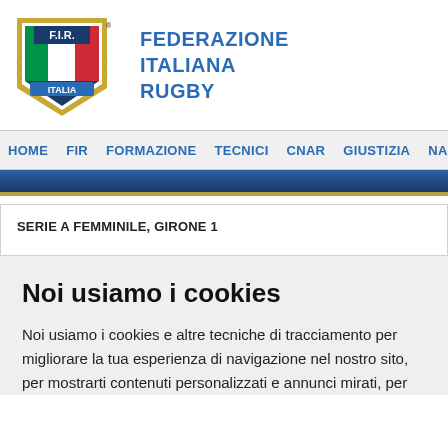[Figure (logo): FIR shield logo with Italian flag colors, laurel branches, and ITALIA banner]
FEDERAZIONE ITALIANA RUGBY
HOME  FIR  FORMAZIONE  TECNICI  CNAR  GIUSTIZIA  NAZIONALI  CAM...
SERIE A FEMMINILE, GIRONE 1
Noi usiamo i cookies
Noi usiamo i cookies e altre tecniche di tracciamento per migliorare la tua esperienza di navigazione nel nostro sito, per mostrarti contenuti personalizzati e annunci mirati, per